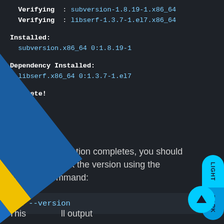Verifying  : subversion-1.8.19-1.x86_64
  Verifying  : libserf-1.3.7-1.el7.x86_64
Installed:
  subversion.x86_64 0:1.8.19-1
Dependency Installed:
  libserf.x86_64 0:1.3.7-1.el7
Complete!
Once the installation completes, you should be able to check the version using the following command:
svn --version
This will output